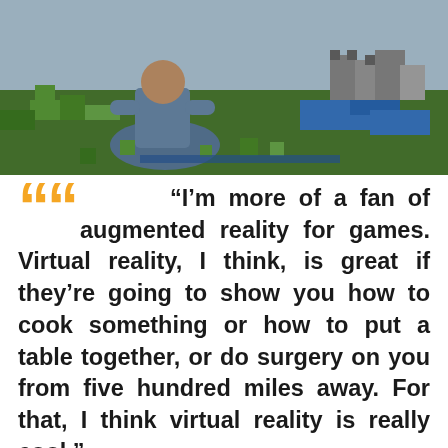[Figure (photo): A person sitting cross-legged on the floor looking at a Minecraft-themed augmented reality display spread out on the floor, showing a pixelated green and blue landscape with buildings.]
"I'm more of a fan of augmented reality for games. Virtual reality, I think, is great if they're going to show you how to cook something or how to put a table together, or do surgery on you from five hundred miles away. For that, I think virtual reality is really cool."